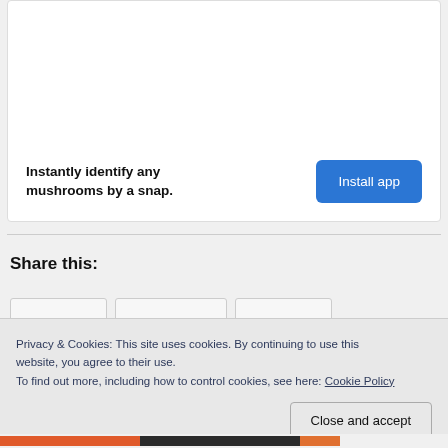Instantly identify any mushrooms by a snap.
Install app
Share this:
Privacy & Cookies: This site uses cookies. By continuing to use this website, you agree to their use.
To find out more, including how to control cookies, see here: Cookie Policy
Close and accept